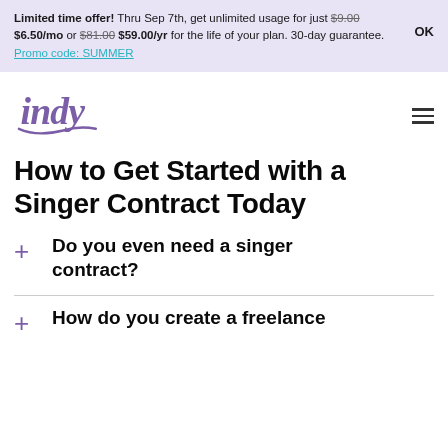Limited time offer! Thru Sep 7th, get unlimited usage for just $9.00 $6.50/mo or $81.00 $59.00/yr for the life of your plan. 30-day guarantee. Promo code: SUMMER
[Figure (logo): Indy logo in purple cursive/script font]
How to Get Started with a Singer Contract Today
Do you even need a singer contract?
How do you create a freelance